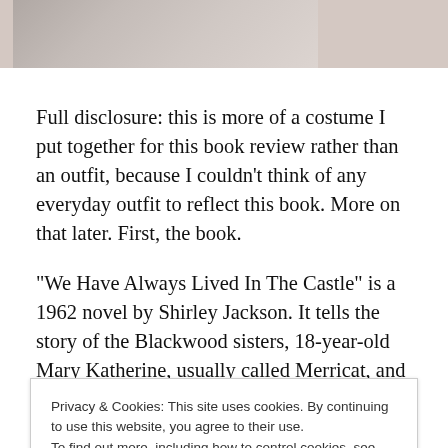[Figure (photo): Partial photo of a person or costume, cropped at top, showing muted pinkish-grey tones]
Full disclosure: this is more of a costume I put together for this book review rather than an outfit, because I couldn't think of any everyday outfit to reflect this book. More on that later. First, the book.
“We Have Always Lived In The Castle” is a 1962 novel by Shirley Jackson. It tells the story of the Blackwood sisters, 18-year-old Mary Katherine, usually called Merricat, and her older sister Constance, who, along with their uncle
Privacy & Cookies: This site uses cookies. By continuing to use this website, you agree to their use.
To find out more, including how to control cookies, see here: Cookie Policy
Close and accept
and their lives…